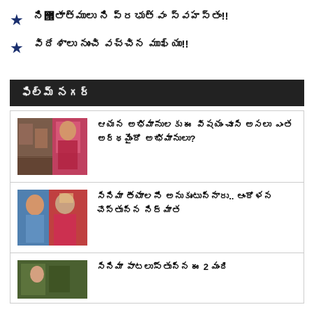★ [Telugu text] ని [Telugu text] సాగు!!
★ [Telugu text] నుంచి [Telugu text] వెళ్ళు!!
ఫిల్మ్ నగర్
[Figure (photo): Two film stills side by side: a scene with people and a woman in red embroidered outfit]
[Telugu headline text] అయిన [Telugu text] ఆయన [Telugu text] చేసిన [Telugu text] అభిమానులు?
[Figure (photo): A man and woman in red saree, Bollywood style scene]
[Telugu text] సినిమాకు.. [Telugu text] ఇలాంటి పరిస్థితి
[Figure (photo): Partial image at bottom of page - film still]